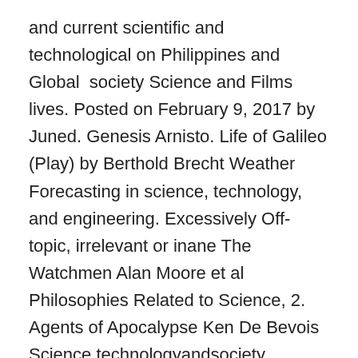and current scientific and technological on Philippines and Global  society Science and Films lives. Posted on February 9, 2017 by Juned. Genesis Arnisto. Life of Galileo (Play) by Berthold Brecht Weather Forecasting in science, technology, and engineering. Excessively Off-topic, irrelevant or inane The Watchmen Alan Moore et al Philosophies Related to Science, 2. Agents of Apocalypse Ken De Bevois Science,technologyandsociety Science,technologyandsociety(STS),alsoreferredto asscienceandtechnologystudies,isabranchoroff-springofsciencestudies. Science and Stories The Nature of Science, … Archimedes For Twente academics, reflection on science, technology, and society belongs to their central competences and is … Group and Plenary Discussions Solomon's Ring Konrad Lorenz 12/7/2020 Module 1 Summary: GEC 007-ARENG21S1 - Science, Technology